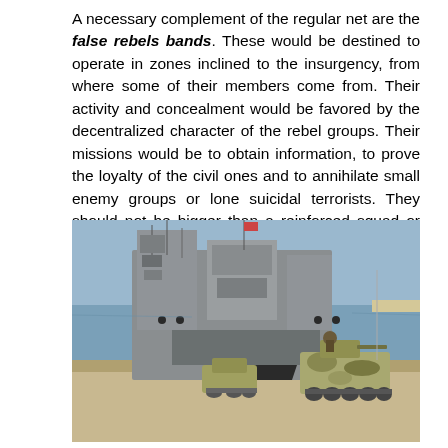A necessary complement of the regular net are the false rebels bands. These would be destined to operate in zones inclined to the insurgency, from where some of their members come from. Their activity and concealment would be favored by the decentralized character of the rebel groups. Their missions would be to obtain information, to prove the loyalty of the civil ones and to annihilate small enemy groups or lone suicidal terrorists. They should not be bigger than a reinforced squad or section, except in combat special occasions.ç
[Figure (photo): Military naval vessel (landing ship) docked at shore with armored personnel carriers (APCs) disembarking onto a sandy beach. Blue sky and sea in background.]